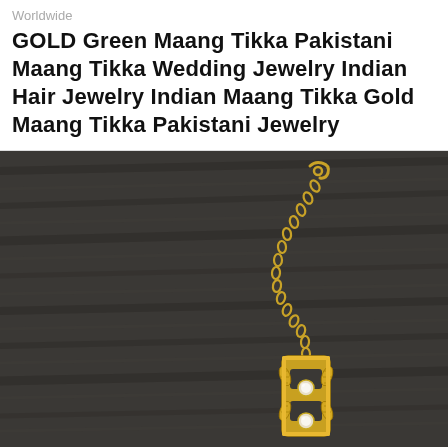Worldwide
GOLD Green Maang Tikka Pakistani Maang Tikka Wedding Jewelry Indian Hair Jewelry Indian Maang Tikka Gold Maang Tikka Pakistani Jewelry
[Figure (photo): Close-up photo of a gold Maang Tikka piece on a dark wooden surface. The jewelry features a gold chain with a hook clasp at the top, connecting to a decorative pendant. The pendant has gold leaf motifs on both sides with a diamond/crystal centerpiece, set in a rectangular gold frame with ornate detailing. The background is a dark gray textured wood surface.]